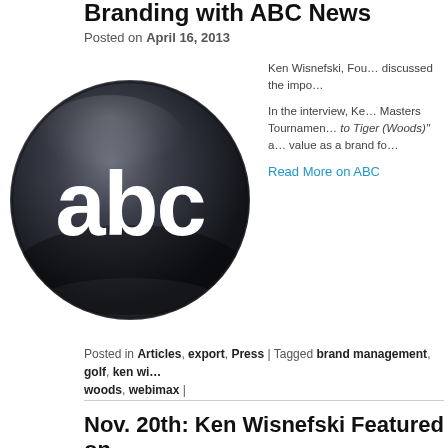Branding with ABC News
Posted on April 16, 2013
[Figure (logo): ABC News logo — a dark sphere with lowercase 'abc' letters in white]
Ken Wisnefski, Fou… discussed the impo…
In the interview, Ke… Masters Tournamen… to Tiger (Woods)" a… value as a brand fo…
Read More on ABC
Posted in Articles, export, Press | Tagged brand management, golf, ken wi… woods, webimax |
Nov. 20th: Ken Wisnefski Featured on CSMonitor.com